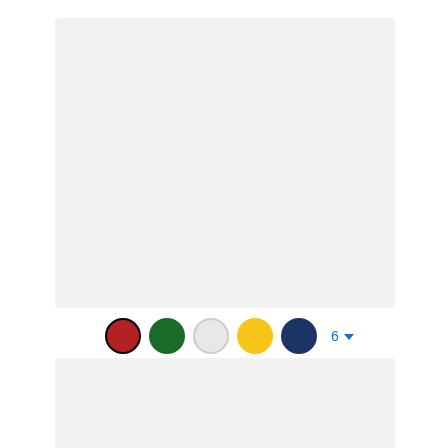[Figure (screenshot): Top product card image area with light gray background placeholder]
Color swatches: red (selected), green, white, yellow, navy — 6 options
Plastic Divot Tool
1 (1) — star rating: 1 out of 5
$0.50 — $0.59
Minimum quantity 125
[Figure (screenshot): Bottom product card image area with light gray background placeholder]